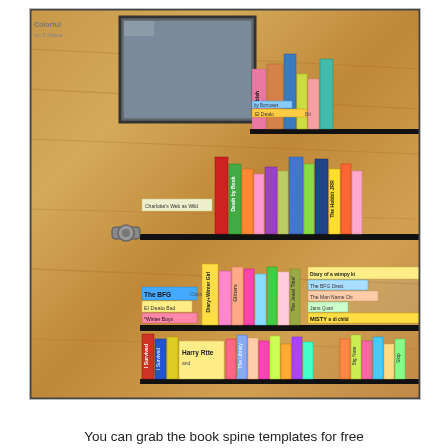[Figure (photo): A classroom door decorated with colorful paper book spines arranged on shelves to look like a bookshelf. Books visible include The BFG, El Dealo, Death by Book, The Hobbit, Diary of a Wimpy Kid, Harry Potter, I Survived, and many others written in marker on colored paper strips.]
You can grab the book spine templates for free